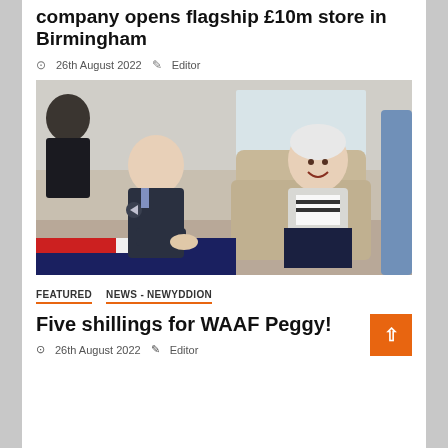company opens flagship £10m store in Birmingham
26th August 2022  Editor
[Figure (photo): A man in RAF uniform crouching and talking to an elderly woman seated in an armchair, both smiling, in a care home setting.]
FEATURED   NEWS - NEWYDDION
Five shillings for WAAF Peggy!
26th August 2022  Editor